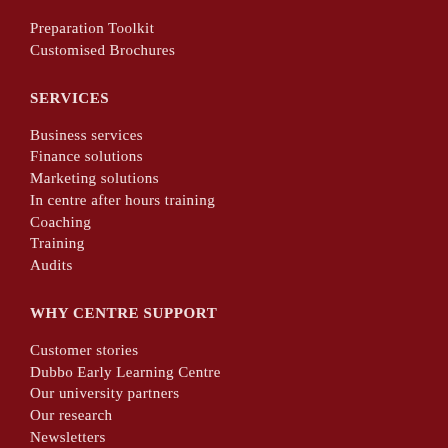Preparation Toolkit
Customised Brochures
SERVICES
Business services
Finance solutions
Marketing solutions
In centre after hours training
Coaching
Training
Audits
WHY CENTRE SUPPORT
Customer stories
Dubbo Early Learning Centre
Our university partners
Our research
Newsletters
Blogs